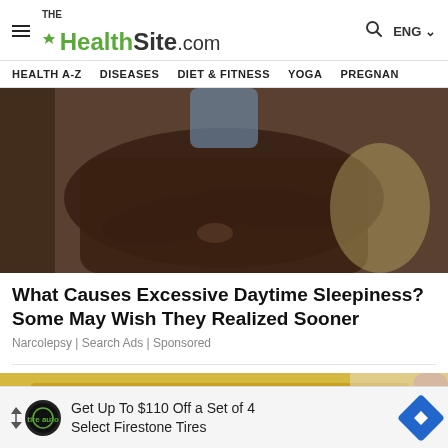THE HealthSite.com
HEALTH A-Z   DISEASES   DIET & FITNESS   YOGA   PREGNAN
[Figure (photo): Person in dark brown sweater with arms crossed, reclining on a sofa or chair]
What Causes Excessive Daytime Sleepiness? Some May Wish They Realized Sooner
Narcolepsy | Search Ads | Sponsored
[Figure (photo): Close-up of something golden/granular being held in a hand]
Get Up To $110 Off a Set of 4 Select Firestone Tires